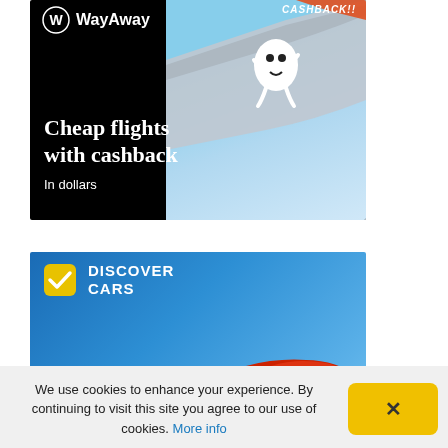[Figure (infographic): WayAway advertisement banner with dark background, airplane window view with blue sky, white mascot character jumping, text 'Cheap flights with cashback' and 'In dollars', with CASHBACK!! label in top right]
[Figure (infographic): Discover Cars advertisement banner with blue sky gradient background, checkmark logo with DISCOVER CARS brand text, red car partially visible on right, 'Car Rentals' headline in white bold text]
We use cookies to enhance your experience. By continuing to visit this site you agree to our use of cookies. More info